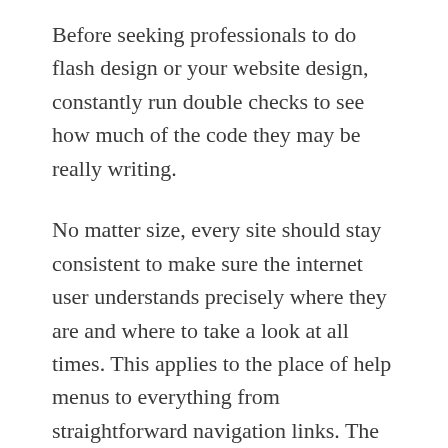Before seeking professionals to do flash design or your website design, constantly run double checks to see how much of the code they may be really writing.
No matter size, every site should stay consistent to make sure the internet user understands precisely where they are and where to take a look at all times. This applies to the place of help menus to everything from straightforward navigation links. The aim should be to make the internet user comfortable with all facets of your site, from your